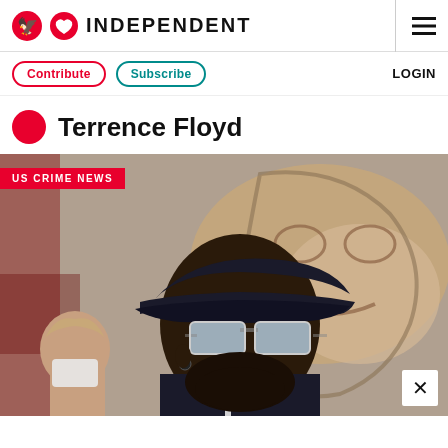INDEPENDENT
Contribute  Subscribe  LOGIN
Terrence Floyd
[Figure (photo): Man wearing a dark baseball cap and clear-framed sunglasses looking upward, with a colorful mural in the background and a woman in a mask partially visible to the left. Badge reads US CRIME NEWS.]